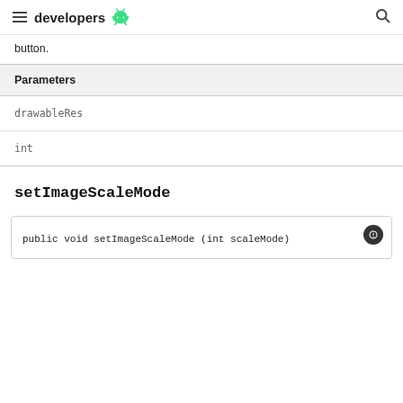developers
button.
| Parameters |
| --- |
| drawableRes |
| int |
setImageScaleMode
public void setImageScaleMode (int scaleMode)